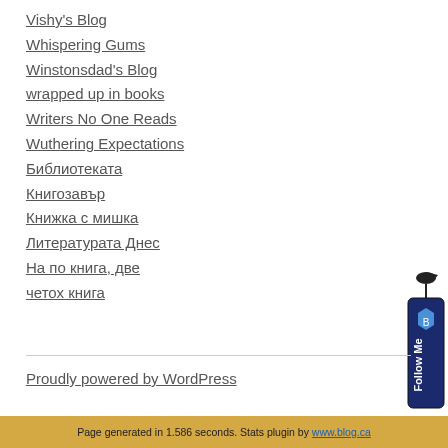Vishy's Blog
Whispering Gums
Winstonsdad's Blog
wrapped up in books
Writers No One Reads
Wuthering Expectations
Библиотеката
Книгозавър
Книжка с мишка
Литературата Днес
На по книга, две
четох книга
[Figure (illustration): Twitter Follow Me widget with bird icon and shield badge on right side]
Proudly powered by WordPress
Page generated in 1.586 seconds. Stats plugin by www.blog.ca